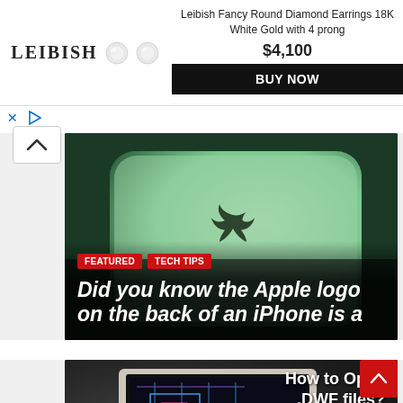[Figure (other): Advertisement banner for Leibish Fancy Round Diamond Earrings 18K White Gold with 4 prong, priced at $4,100 with a BUY NOW button, showing the Leibish logo and two diamond earring images]
[Figure (photo): Article card showing a mint green iPhone from the back with the Apple logo visible, overlaid with tags FEATURED and TECH TIPS, and headline: Did you know the Apple logo on the back of an iPhone is a]
[Figure (photo): Article card showing a laptop with CAD/DWF file open, with text overlay 'How to Open .DWF files?' and tag TECH TIPS and headline: What Is a DWF File and how to open it?]